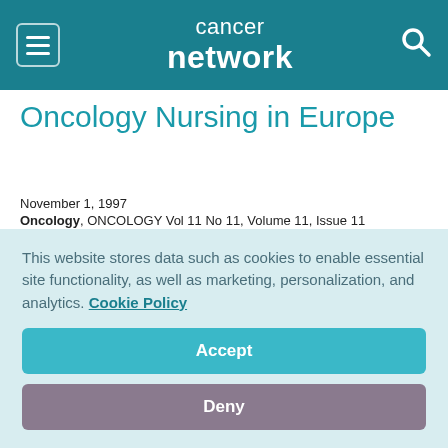cancer network
Oncology Nursing in Europe
November 1, 1997
Oncology, ONCOLOGY Vol 11 No 11, Volume 11, Issue 11
[Figure (infographic): Social sharing icons: Facebook, Twitter, LinkedIn, Pinterest, Email]
Presenting the nursing perspective on cancer. Ms. Nora Jodrell.
This website stores data such as cookies to enable essential site functionality, as well as marketing, personalization, and analytics. Cookie Policy
Accept
Deny